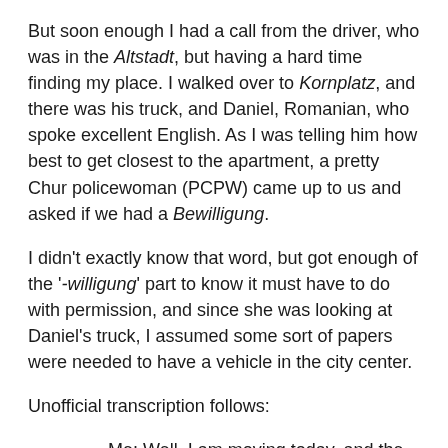But soon enough I had a call from the driver, who was in the Altstadt, but having a hard time finding my place. I walked over to Kornplatz, and there was his truck, and Daniel, Romanian, who spoke excellent English. As I was telling him how best to get closest to the apartment, a pretty Chur policewoman (PCPW) came up to us and asked if we had a Bewilligung.
I didn't exactly know that word, but got enough of the '-willigung' part to know it must have to do with permission, and since she was looking at Daniel's truck, I assumed some sort of papers were needed to have a vehicle in the city center.
Unofficial transcription follows:
Me: Well, I am moving today, and the truck will be in the town for only a short period time.²
PCPW: Yes, but do you already have a Bewilligung?